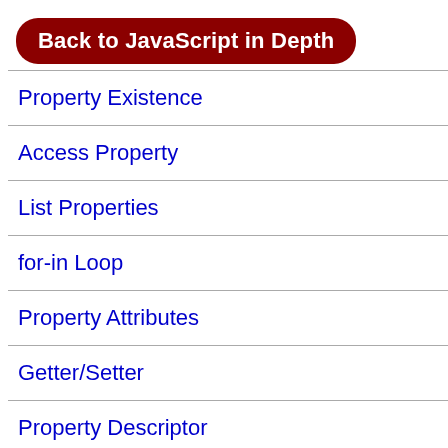Back to JavaScript in Depth
Property Existence
Access Property
List Properties
for-in Loop
Property Attributes
Getter/Setter
Property Descriptor
Symbol
Object and Inheritance